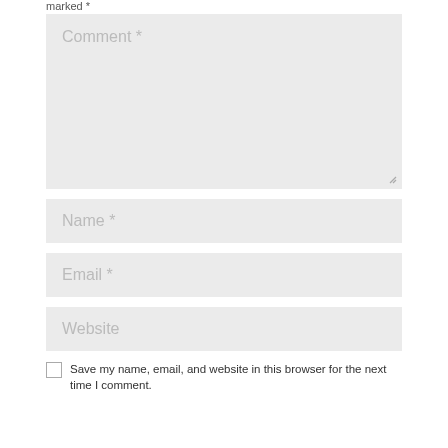marked *
[Figure (screenshot): Web comment form with fields: Comment (textarea), Name, Email, Website, and a checkbox for saving name/email/website in browser]
Save my name, email, and website in this browser for the next time I comment.